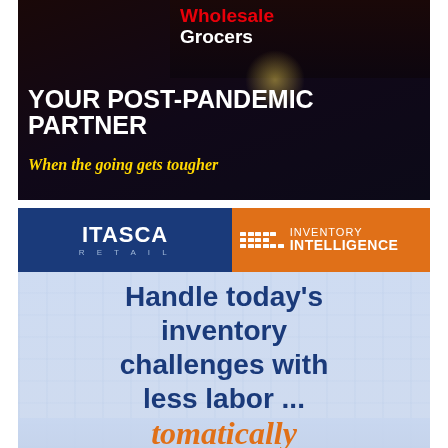[Figure (advertisement): Top advertisement showing a dark storefront sign with 'Wholesale Grocers' in red and white text, overlaid with bold white headline 'YOUR POST-PANDEMIC PARTNER' and yellow italic tagline 'When the going gets tougher']
[Figure (logo): Itasca Retail logo in blue box paired with Inventory Intelligence logo in orange box]
Handle today's inventory challenges with less labor ...
automatically